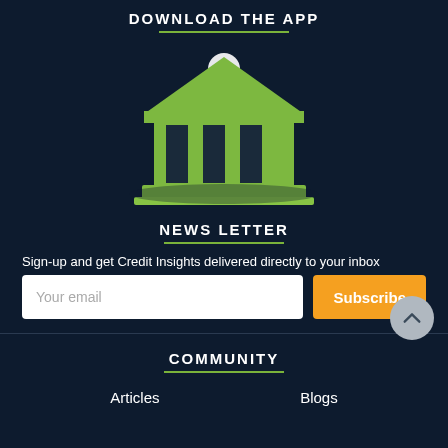DOWNLOAD THE APP
[Figure (illustration): Green bank/institution building emoji icon with columns and a white circular light on top, on dark navy background]
NEWS LETTER
Sign-up and get Credit Insights delivered directly to your inbox
Your email [input field] Subscribe [button]
COMMUNITY
Articles
Blogs